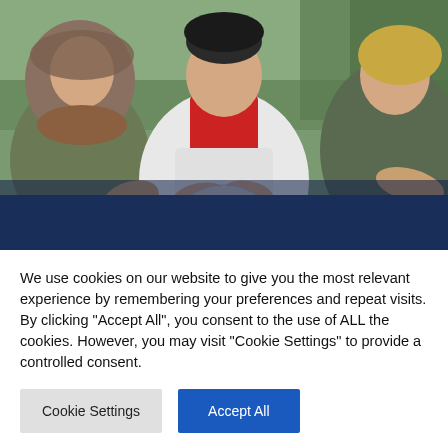[Figure (photo): Three women outdoors in winter clothing sharing something from a clear bag, possibly seeds or small items. Green trees in background. One woman in white jacket and red turtleneck in center, another in fur-trimmed jacket on left, another with blonde hair on right.]
We use cookies on our website to give you the most relevant experience by remembering your preferences and repeat visits. By clicking "Accept All", you consent to the use of ALL the cookies. However, you may visit "Cookie Settings" to provide a controlled consent.
Cookie Settings
Accept All